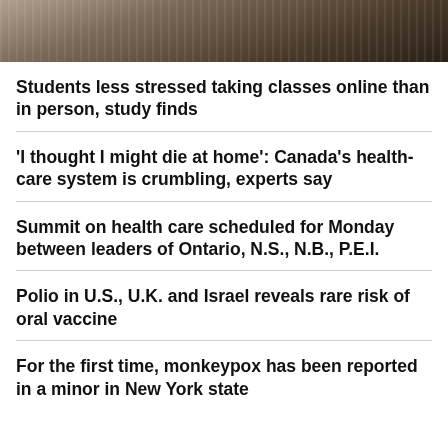[Figure (photo): Photo of a laptop on a desk, partially visible at the top of the page]
Students less stressed taking classes online than in person, study finds
'I thought I might die at home': Canada's health-care system is crumbling, experts say
Summit on health care scheduled for Monday between leaders of Ontario, N.S., N.B., P.E.I.
Polio in U.S., U.K. and Israel reveals rare risk of oral vaccine
For the first time, monkeypox has been reported in a minor in New York state